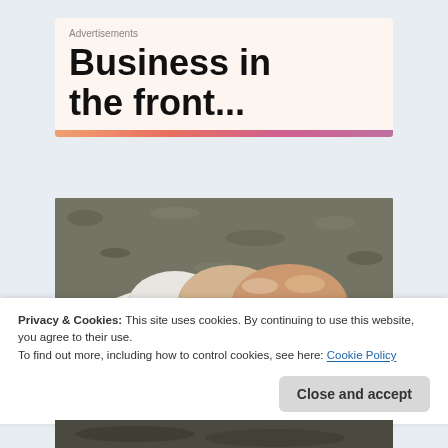Advertisements
Business in the front...
[Figure (photo): A white plate with eggs on a granite countertop background]
Privacy & Cookies: This site uses cookies. By continuing to use this website, you agree to their use.
To find out more, including how to control cookies, see here: Cookie Policy
[Figure (photo): Bottom portion of a photo, dark surface visible]